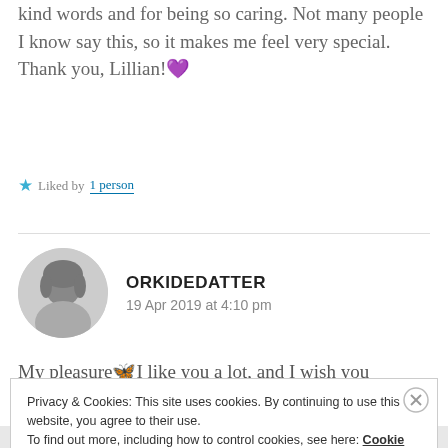kind words and for being so caring. Not many people I know say this, so it makes me feel very special. Thank you, Lillian! 💜
★ Liked by 1 person
ORKIDEDATTER
19 Apr 2019 at 4:10 pm
My pleasure 🦋 I like you a lot, and I wish you
Privacy & Cookies: This site uses cookies. By continuing to use this website, you agree to their use.
To find out more, including how to control cookies, see here: Cookie Policy
Close and accept